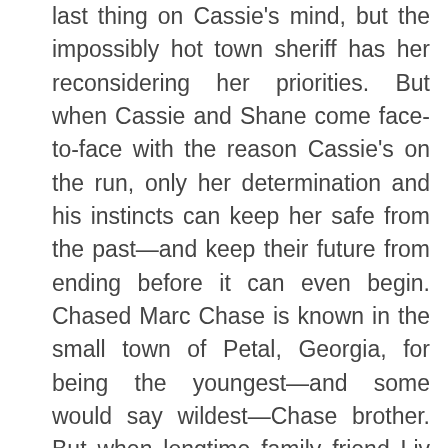last thing on Cassie's mind, but the impossibly hot town sheriff has her reconsidering her priorities. But when Cassie and Shane come face-to-face with the reason Cassie's on the run, only her determination and his instincts can keep her safe from the past—and keep their future from ending before it can even begin. Chased Marc Chase is known in the small town of Petal, Georgia, for being the youngest—and some would say wildest—Chase brother. But when longtime family friend Liv Davis signs up for some personal training sessions, Marc realizes the only woman he wants has been right in front of him all along. Mayor's assistant Liv has been hurt too many times to let a Chase brother into her life—or into her bed. She's ready for something more. Something she doesn't think the six-years-younger Marc is ready to give. Knowing he'll need more than pretty words to break through Liv's wall of heartbreak, Marc takes the